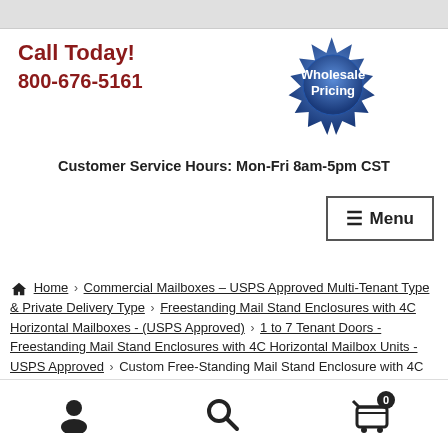[Figure (other): Top gray banner bar]
Call Today! 800-676-5161
[Figure (other): Wholesale Pricing badge/seal in blue]
Customer Service Hours: Mon-Fri 8am-5pm CST
☰ Menu
Home › Commercial Mailboxes – USPS Approved Multi-Tenant Type & Private Delivery Type › Freestanding Mail Stand Enclosures with 4C Horizontal Mailboxes - (USPS Approved) › 1 to 7 Tenant Doors - Freestanding Mail Stand Enclosures with 4C Horizontal Mailbox Units - USPS Approved › Custom Free-Standing Mail Stand Enclosure with 4C Horizontal Mailbox Unit (Includes 1 Oversized Tenant Door & 1 Outgoing Mail) USPS Approved – H3906S-01
[Figure (other): Footer bar with user icon, search icon, and cart icon with badge showing 0]